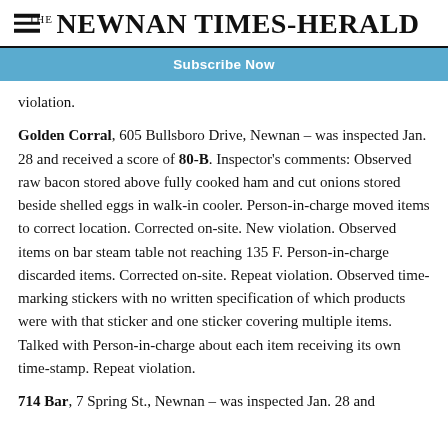THE NEWNAN TIMES-HERALD
Subscribe Now
violation.
Golden Corral, 605 Bullsboro Drive, Newnan – was inspected Jan. 28 and received a score of 80-B. Inspector's comments: Observed raw bacon stored above fully cooked ham and cut onions stored beside shelled eggs in walk-in cooler. Person-in-charge moved items to correct location. Corrected on-site. New violation. Observed items on bar steam table not reaching 135 F. Person-in-charge discarded items. Corrected on-site. Repeat violation. Observed time-marking stickers with no written specification of which products were with that sticker and one sticker covering multiple items. Talked with Person-in-charge about each item receiving its own time-stamp. Repeat violation.
714 Bar, 7 Spring St., Newnan – was inspected Jan. 28 and